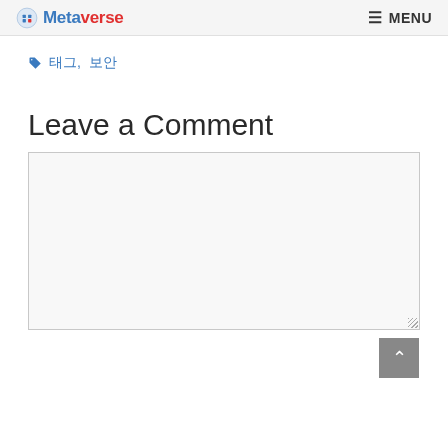Metaverse  MENU
태그, 보안
Leave a Comment
[Figure (screenshot): Comment text area input box, empty, with resize handle at bottom right and scroll-to-top button overlay]